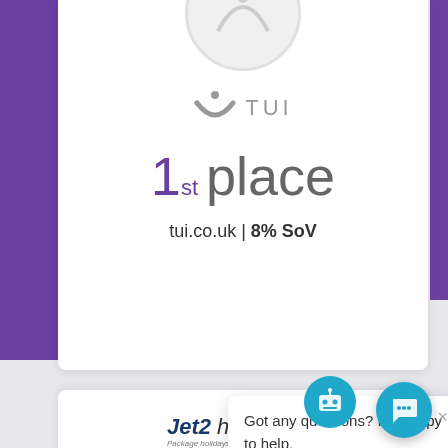[Figure (screenshot): TUI logo with smiley arrow symbol in grey]
1st place
tui.co.uk | 8% SoV
[Figure (screenshot): Chatbot popup with robot icon saying 'Got any questions? I'm happy to help.' with a close X button and chat launcher button]
[Figure (logo): Jet2holidays logo - Package holidays you can trust]